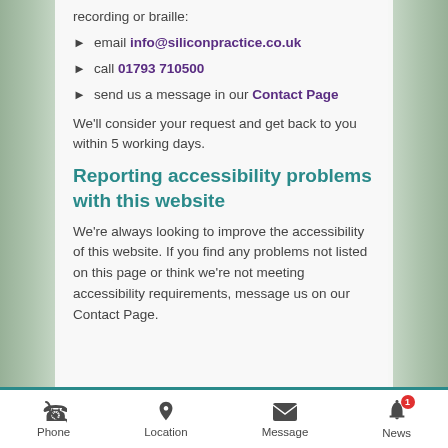recording or braille:
email info@siliconpractice.co.uk
call 01793 710500
send us a message in our Contact Page
We'll consider your request and get back to you within 5 working days.
Reporting accessibility problems with this website
We're always looking to improve the accessibility of this website. If you find any problems not listed on this page or think we're not meeting accessibility requirements, message us on our Contact Page.
Phone  Location  Message  News